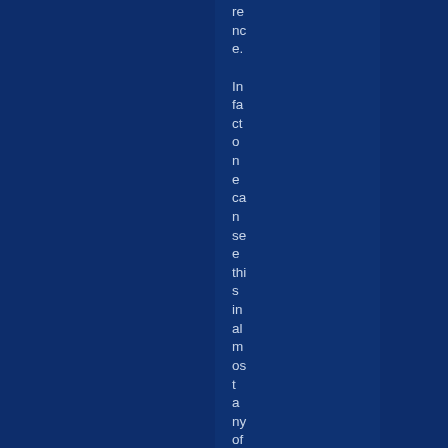rence. In fact one can sense this in almost any of the associati